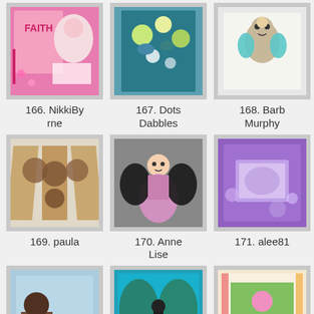[Figure (photo): Thumbnail 166 - craft artwork with pink and floral design, text FAITH]
166. NikkiByrne
[Figure (photo): Thumbnail 167 - craft artwork with blue and green floral design]
167. Dots Dabbles
[Figure (photo): Thumbnail 168 - sketch of a cat/bear with teal accessories on white background]
168. Barb Murphy
[Figure (photo): Thumbnail 169 - brown triptych book with portrait faces]
169. paula
[Figure (photo): Thumbnail 170 - angel doll figure with dark hair on grey background]
170. Anne Lise
[Figure (photo): Thumbnail 171 - purple card with floral design]
171. alee81
[Figure (photo): Thumbnail 172 - mixed media art journal page with figure]
172. Dawn
[Figure (photo): Thumbnail 173 - teal background with butterfly/angel wings]
173. Crystal T.
[Figure (photo): Thumbnail 174 - scrapbook page with child and colorful border]
174. Dawn
[Figure (photo): Thumbnail 175 - partial view of craft card]
[Figure (photo): Thumbnail 176 - partial view, Happy Halloween text with 31]